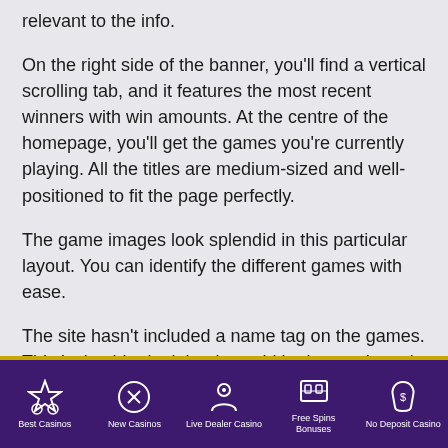relevant to the info.
On the right side of the banner, you'll find a vertical scrolling tab, and it features the most recent winners with win amounts. At the centre of the homepage, you'll get the games you're currently playing. All the titles are medium-sized and well-positioned to fit the page perfectly.
The game images look splendid in this particular layout. You can identify the different games with ease.
The site hasn't included a name tag on the games. This isn't a big deal, but it would be best to have it as some games don't have names.
You'll find a sorting bar on the left side of the
Best Casinos | New Casinos | Live Dealer Casino | Free Spins Bonuses | No Deposit Casino